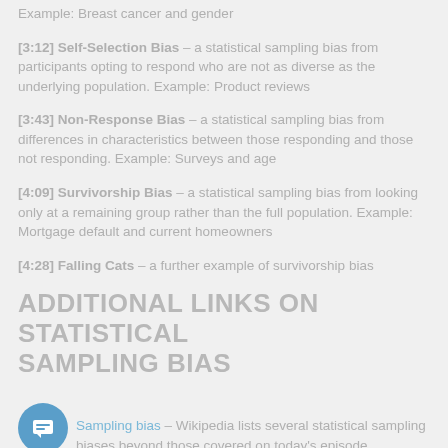Example: Breast cancer and gender
[3:12] Self-Selection Bias – a statistical sampling bias from participants opting to respond who are not as diverse as the underlying population. Example: Product reviews
[3:43] Non-Response Bias – a statistical sampling bias from differences in characteristics between those responding and those not responding. Example: Surveys and age
[4:09] Survivorship Bias – a statistical sampling bias from looking only at a remaining group rather than the full population. Example: Mortgage default and current homeowners
[4:28] Falling Cats – a further example of survivorship bias
ADDITIONAL LINKS ON STATISTICAL SAMPLING BIAS
Sampling bias – Wikipedia lists several statistical sampling biases beyond those covered on today's episode